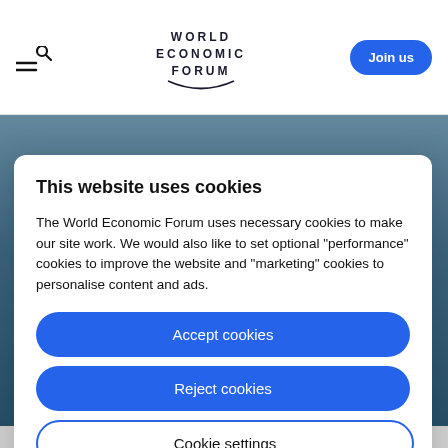[Figure (logo): World Economic Forum logo with hamburger menu and search icon on the left, WEF text logo in the center, and a blue 'Join us' button on the right]
This website uses cookies
The World Economic Forum uses necessary cookies to make our site work. We would also like to set optional "performance" cookies to improve the website and "marketing" cookies to personalise content and ads.
Accept cookies
Reject cookies
Cookie settings